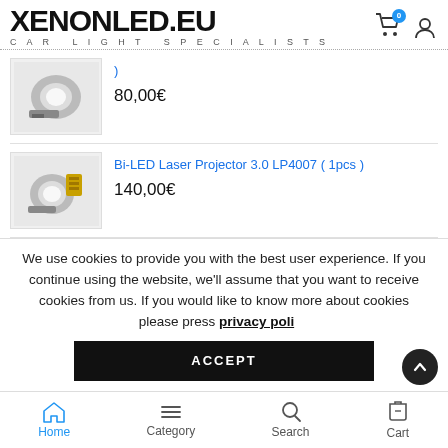XENONLED.EU — CAR LIGHT SPECIALISTS
[Figure (photo): Product image of a bi-LED projector lens (first product)]
) 80,00€
[Figure (photo): Product image of a Bi-LED Laser Projector 3.0 LP4007]
Bi-LED Laser Projector 3.0 LP4007 ( 1pcs ) 140,00€
We use cookies to provide you with the best user experience. If you continue using the website, we'll assume that you want to receive cookies from us. If you would like to know more about cookies please press privacy policy
Home  Category  Search  Cart